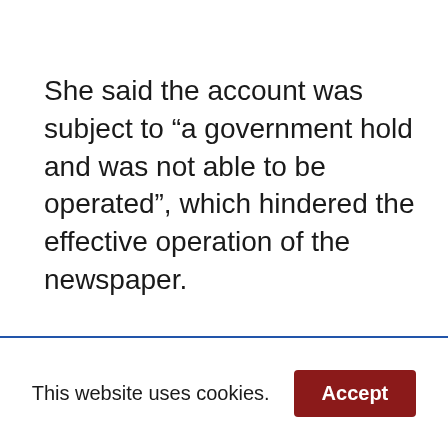She said the account was subject to “a government hold and was not able to be operated”, which hindered the effective operation of the newspaper.
Advertisement
This website uses cookies.
Accept